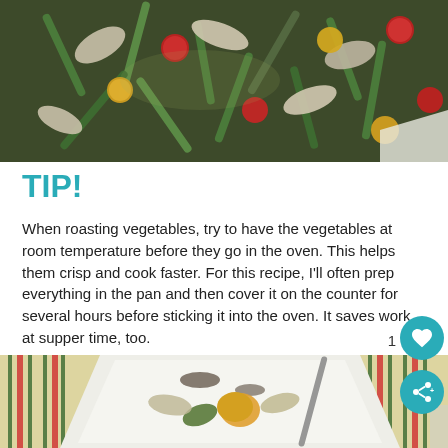[Figure (photo): Close-up photo of roasted vegetables including green beans, cherry tomatoes (red and yellow), and sliced onions or fennel in a baking pan]
TIP!
When roasting vegetables, try to have the vegetables at room temperature before they go in the oven. This helps them crisp and cook faster. For this recipe, I'll often prep everything in the pan and then cover it on the counter for several hours before sticking it into the oven. It saves work at supper time, too.
[Figure (photo): Photo of roasted vegetables in a white baking dish on a striped kitchen towel with red and green stripes]